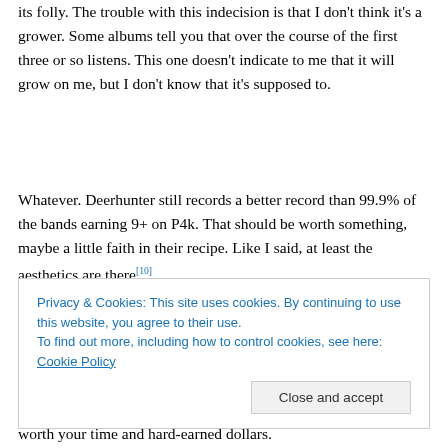its folly. The trouble with this indecision is that I don't think it's a grower. Some albums tell you that over the course of the first three or so listens. This one doesn't indicate to me that it will grow on me, but I don't know that it's supposed to.
Whatever. Deerhunter still records a better record than 99.9% of the bands earning 9+ on P4k. That should be worth something, maybe a little faith in their recipe. Like I said, at least the aesthetics are there[10].
Privacy & Cookies: This site uses cookies. By continuing to use this website, you agree to their use.
To find out more, including how to control cookies, see here: Cookie Policy
worth your time and hard-earned dollars.